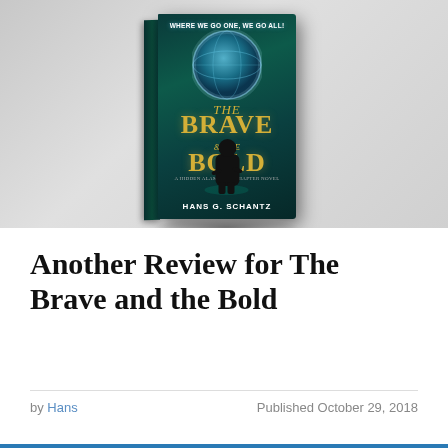[Figure (photo): 3D rendered book cover of 'The Brave and the Bold' by Hans G. Schantz, showing a dark teal book with golden title text, a silhouetted figure, and a globe on the cover, displayed against a light gray gradient background.]
Another Review for The Brave and the Bold
by Hans   Published October 29, 2018